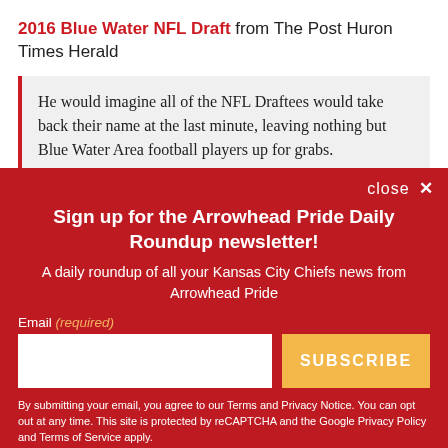2016 Blue Water NFL Draft from The Post Huron Times Herald
He would imagine all of the NFL Draftees would take back their name at the last minute, leaving nothing but Blue Water Area football players up for grabs.
Sign up for the Arrowhead Pride Daily Roundup newsletter!
A daily roundup of all your Kansas City Chiefs news from Arrowhead Pride
Email (required)
SUBSCRIBE
By submitting your email, you agree to our Terms and Privacy Notice. You can opt out at any time. This site is protected by reCAPTCHA and the Google Privacy Policy and Terms of Service apply.